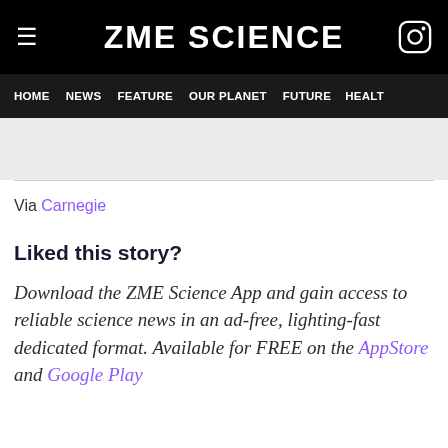ZME SCIENCE
HOME  NEWS  FEATURE  OUR PLANET  FUTURE  HEALT
Via Carnegie
Liked this story?
Download the ZME Science App and gain access to reliable science news in an ad-free, lighting-fast dedicated format. Available for FREE on the AppStore and Google Play